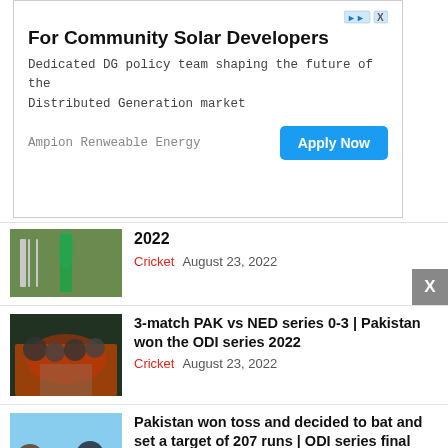[Figure (infographic): Advertisement banner for Ampion Renewable Energy - For Community Solar Developers. Dedicated DG policy team shaping the future of the Distributed Generation market. Apply Now button.]
[Figure (photo): Cricket player walking on field]
2022
Cricket  August 23, 2022
[Figure (photo): Pakistan cricket team posing with trophy]
3-match PAK vs NED series 0-3 | Pakistan won the ODI series 2022
Cricket  August 23, 2022
[Figure (photo): Players at toss ceremony on cricket ground]
Pakistan won toss and decided to bat and set a target of 207 runs | ODI series final
Cricket  August 23, 2022
[Figure (photo): Asia Cup 2022 logo/banner]
Sri Lanka vs Afghanistan Live | Asia Cup 2022